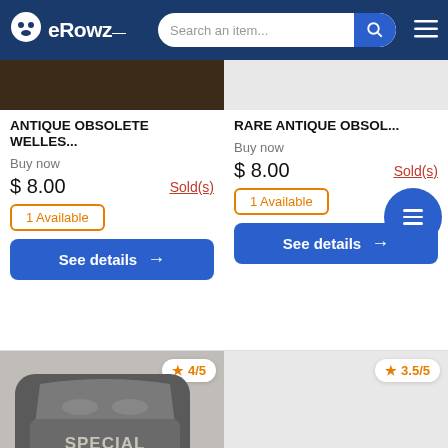eRowz — Search an item...
ANTIQUE OBSOLETE WELLES...
Buy now
$ 8.00  Sold(s)
1 Available
See details →
RARE ANTIQUE OBSOL...
Buy now
$ 8.00  Sold(s)
1 Available
See details →
[Figure (photo): Antique badge photo showing 'SPECIAL 1246' text, metallic finish, rated 4/5 stars]
[Figure (photo): Second antique item image, light gray background, rated 3.5/5 stars]